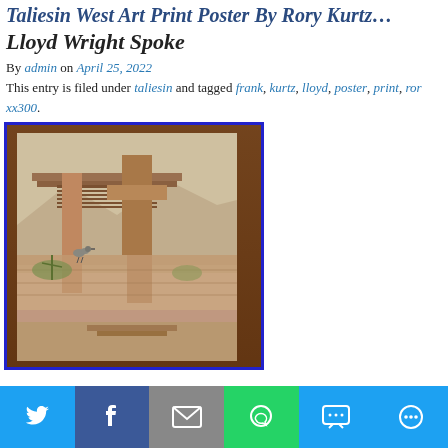Taliesin West Art Print Poster By Rory Kurtz...
Lloyd Wright Spoke
By admin on April 25, 2022
This entry is filed under taliesin and tagged frank, kurtz, lloyd, poster, print, ror... xx300.
[Figure (photo): A photo of an art print poster depicting Taliesin West architecture by Frank Lloyd Wright, featuring geometric building forms, a bird, desert plants, and mountains in the background. The print is photographed lying on a wooden surface.]
Share bar with Twitter, Facebook, Email, WhatsApp, SMS, More buttons